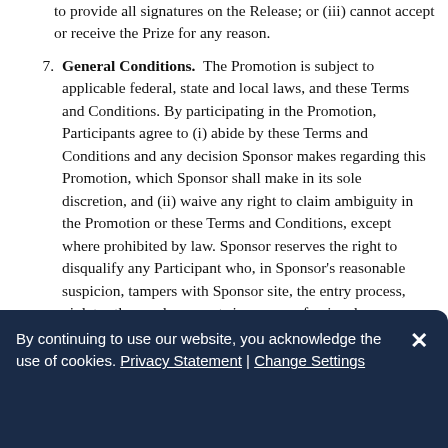to provide all signatures on the Release; or (iii) cannot accept or receive the Prize for any reason.
7. General Conditions. The Promotion is subject to applicable federal, state and local laws, and these Terms and Conditions. By participating in the Promotion, Participants agree to (i) abide by these Terms and Conditions and any decision Sponsor makes regarding this Promotion, which Sponsor shall make in its sole discretion, and (ii) waive any right to claim ambiguity in the Promotion or these Terms and Conditions, except where prohibited by law. Sponsor reserves the right to disqualify any Participant who, in Sponsor's reasonable suspicion, tampers with Sponsor site, the entry process, violates these rules, or acts in an unprofessional,
By continuing to use our website, you acknowledge the use of cookies. Privacy Statement | Change Settings